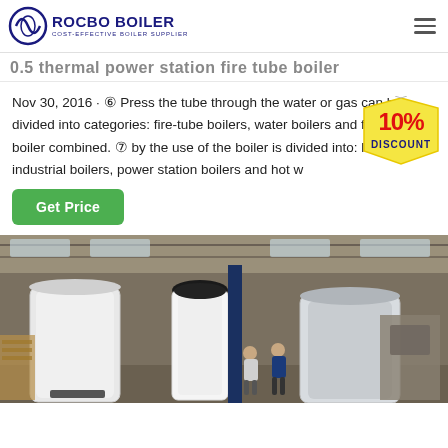ROCBO BOILER — COST-EFFECTIVE BOILER SUPPLIER
0.5 thermal power station fire tube boiler
Nov 30, 2016 · ⑥ Press the tube through the water or gas can be divided into categories: fire-tube boilers, water boilers and fire tube boiler combined. ⑦ by the use of the boiler is divided into: life, boilers, industrial boilers, power station boilers and hot w
[Figure (infographic): 10% DISCOUNT badge/sticker in red and yellow]
[Figure (photo): Factory floor showing industrial boilers wrapped in white protective covering, with workers in blue uniforms visible in the background of a large manufacturing warehouse]